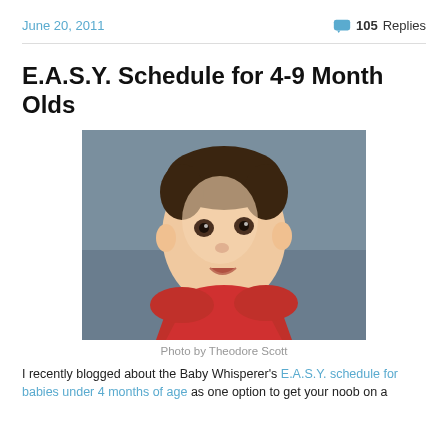June 20, 2011    105 Replies
E.A.S.Y. Schedule for 4-9 Month Olds
[Figure (photo): Close-up photo of a baby with dark hair looking upward, wearing a red outfit, against a blue-grey background]
Photo by Theodore Scott
I recently blogged about the Baby Whisperer's E.A.S.Y. schedule for babies under 4 months of age as one option to get your noob on a